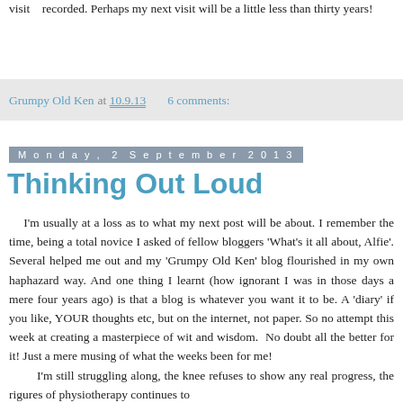visit recorded. Perhaps my next visit will be a little less than thirty years!
Grumpy Old Ken at 10.9.13  6 comments:
Monday, 2 September 2013
Thinking Out Loud
I'm usually at a loss as to what my next post will be about. I remember the time, being a total novice I asked of fellow bloggers 'What's it all about, Alfie'. Several helped me out and my 'Grumpy Old Ken' blog flourished in my own haphazard way. And one thing I learnt (how ignorant I was in those days a mere four years ago) is that a blog is whatever you want it to be. A 'diary' if you like, YOUR thoughts etc, but on the internet, not paper. So no attempt this week at creating a masterpiece of wit and wisdom.  No doubt all the better for it! Just a mere musing of what the weeks been for me!
I'm still struggling along, the knee refuses to show any real progress, the rigures of physiotherapy continues to